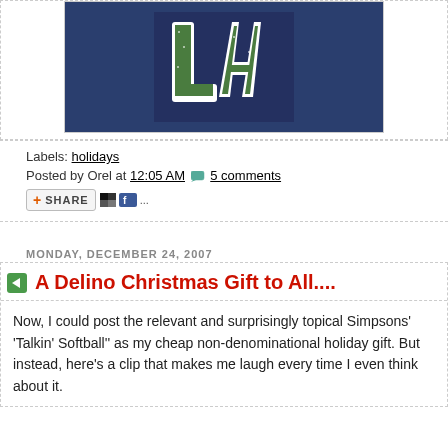[Figure (photo): Close-up photo of a blue baseball cap with a sparkly green and white LA Dodgers logo embroidered on it.]
Labels: holidays
Posted by Orel at 12:05 AM  5 comments
[Figure (screenshot): AddThis share button bar showing SHARE with social icons]
MONDAY, DECEMBER 24, 2007
A Delino Christmas Gift to All....
Now, I could post the relevant and surprisingly topical Simpsons' 'Talkin' Softball'' as my cheap non-denominational holiday gift. But instead, here's a clip that makes me laugh every time I even think about it.